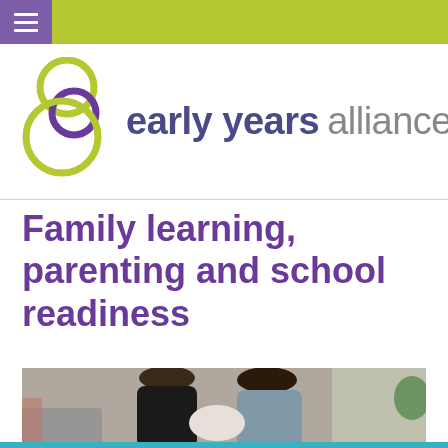Early Years Alliance navigation bar with hamburger menu
[Figure (logo): Early Years Alliance logo with stylized figure-8 and interlocking circles in lime green and purple, next to the text 'early years alliance']
Family learning, parenting and school readiness
[Figure (photo): A man and a woman looking down at a newborn baby they are holding, photographed indoors]